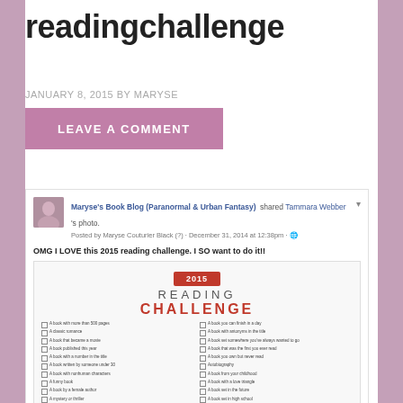readingchallenge
JANUARY 8, 2015 BY MARYSE
LEAVE A COMMENT
[Figure (screenshot): Facebook post screenshot showing Maryse's Book Blog (Paranormal & Urban Fantasy) sharing Tammara Webber's photo, with caption 'OMG I LOVE this 2015 reading challenge. I SO want to do it!!' and an embedded 2015 Reading Challenge checklist image.]